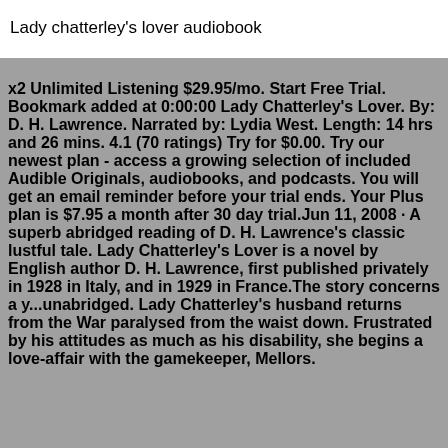Lady chatterley's lover audiobook
x2 Unlimited Listening $29.95/mo. Start Free Trial. Bookmark added at 0:00:00 Lady Chatterley's Lover. By: D. H. Lawrence. Narrated by: Lydia West. Length: 14 hrs and 26 mins. 4.1 (70 ratings) Try for $0.00. Try our newest plan - access a growing selection of included Audible Originals, audiobooks, and podcasts. You will get an email reminder before your trial ends. Your Plus plan is $7.95 a month after 30 day trial.Jun 11, 2008 · A superb abridged reading of D. H. Lawrence's classic lustful tale. Lady Chatterley's Lover is a novel by English author D. H. Lawrence, first published privately in 1928 in Italy, and in 1929 in France.The story concerns a y...unabridged. Lady Chatterley's husband returns from the War paralysed from the waist down. Frustrated by his attitudes as much as his disability, she begins a love-affair with the gamekeeper, Mellors.